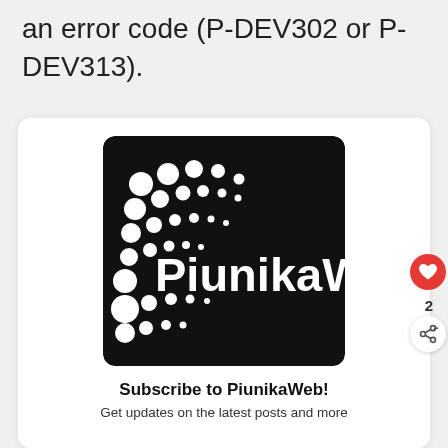an error code (P-DEV302 or P-DEV313).
[Figure (logo): PiunikaWeb logo: black square with white dots and PiunikaW text in white on black background]
Subscribe to PiunikaWeb!
Get updates on the latest posts and more